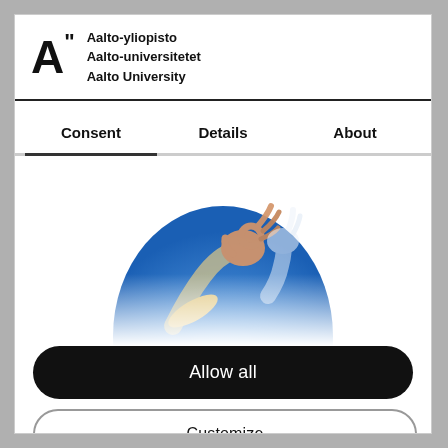[Figure (logo): Aalto University logo: large bold letter A with double-quote mark, followed by text 'Aalto-yliopisto / Aalto-universitetet / Aalto University']
Consent	Details	About
[Figure (illustration): Semicircular illustration showing hands making sign language gestures against a blue gradient background]
Allow all
Customize